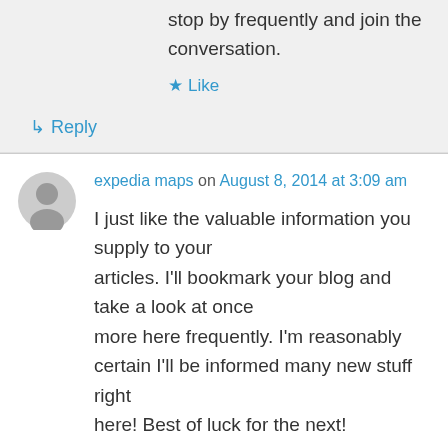stop by frequently and join the conversation.
★ Like
↳ Reply
expedia maps on August 8, 2014 at 3:09 am
I just like the valuable information you supply to your articles. I'll bookmark your blog and take a look at once more here frequently. I'm reasonably certain I'll be informed many new stuff right here! Best of luck for the next!
★ Like